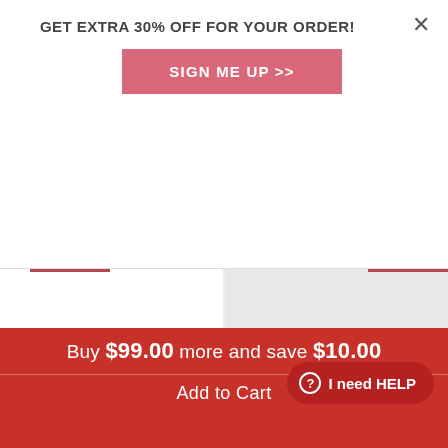GET EXTRA 30% OFF FOR YOUR ORDER!
SIGN ME UP >>
[Figure (screenshot): Left product card: Blue Style Pacifier and Bottle 2 Piece Set Safest... with white background product image area]
Blue Style Pacifier and Bottle 2 Piece Set Safest...
[Figure (screenshot): Right product card: Pink Style Pacifier and Bottle 2 Piece Set Safest... with gray background and share/upload circle buttons]
Pink Style Pacifier and Bottle 2 Piece Set Safest...
Buy $99.00 more and save $10.00
Add to Cart
I need HELP